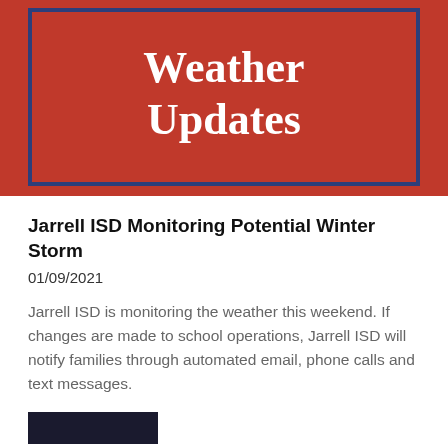[Figure (illustration): Red banner with dark blue border containing bold white serif text reading 'Jarrell ISD Weather Updates']
Jarrell ISD Monitoring Potential Winter Storm
01/09/2021
Jarrell ISD is monitoring the weather this weekend. If changes are made to school operations, Jarrell ISD will notify families through automated email, phone calls and text messages.